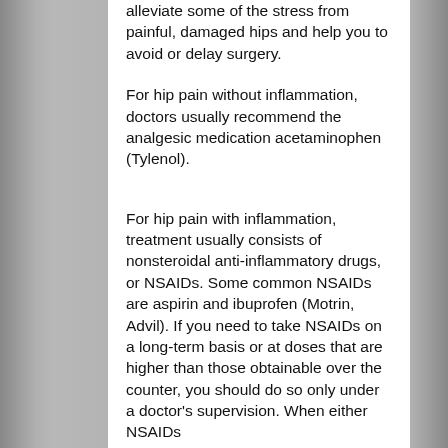alleviate some of the stress from painful, damaged hips and help you to avoid or delay surgery.
For hip pain without inflammation, doctors usually recommend the analgesic medication acetaminophen (Tylenol).
For hip pain with inflammation, treatment usually consists of nonsteroidal anti-inflammatory drugs, or NSAIDs. Some common NSAIDs are aspirin and ibuprofen (Motrin, Advil). If you need to take NSAIDs on a long-term basis or at doses that are higher than those obtainable over the counter, you should do so only under a doctor's supervision. When either NSAIDs